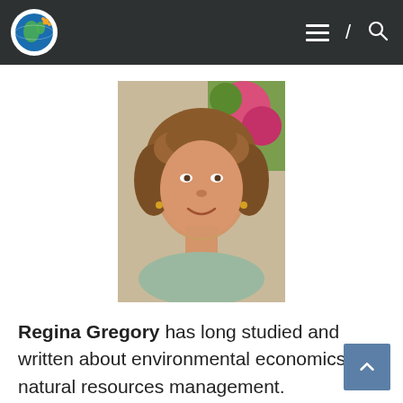Navigation header with logo, hamburger menu, slash icon, and search icon
[Figure (photo): Portrait photo of Regina Gregory, a woman with curly reddish-brown hair, smiling, outdoors with pink flowers in the background]
Regina Gregory has long studied and written about environmental economics and natural resources management. Publications include reports for the World Bank, UN ESCAP, and Environmental Defense, and articles for the Honolulu